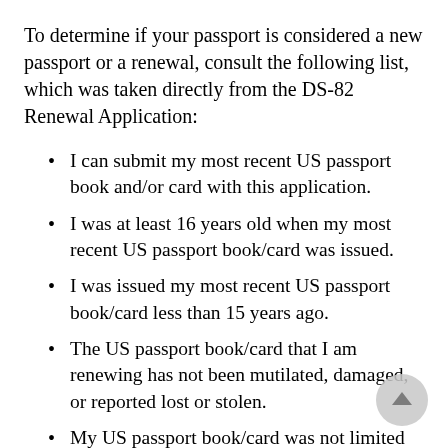To determine if your passport is considered a new passport or a renewal, consult the following list, which was taken directly from the DS-82 Renewal Application:
I can submit my most recent US passport book and/or card with this application.
I was at least 16 years old when my most recent US passport book/card was issued.
I was issued my most recent US passport book/card less than 15 years ago.
The US passport book/card that I am renewing has not been mutilated, damaged, or reported lost or stolen.
My US passport book/card was not limited to less than the normal ten-year